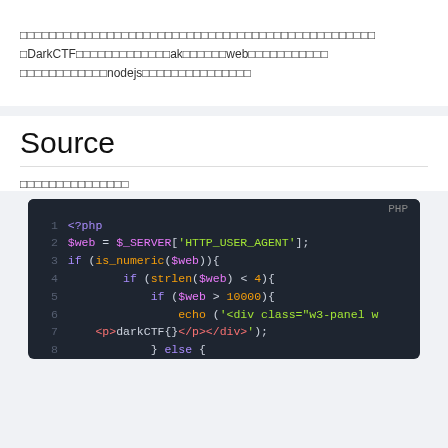□□□□□□□□□□□□□□□□□□□□□□□□□□□□□□□□□□□□□□□□□□□□□□□□□DarkCTF□□□□□□□□□□□□ak□□□□□□web□□□□□□□□□□□□□□□□□□□□□□□nodejs□□□□□□□□□□□□□□□□
Source
□□□□□□□□□□□□□□□
[Figure (screenshot): PHP code block on dark background showing lines 1-8: <?php, $web = $_SERVER['HTTP_USER_AGENT'];, if (is_numeric($web)){, if (strlen($web) < 4){, if ($web > 10000){, echo ('<div class="w3-panel w..., <p>darkCTF{}</p></div>');, } else {]